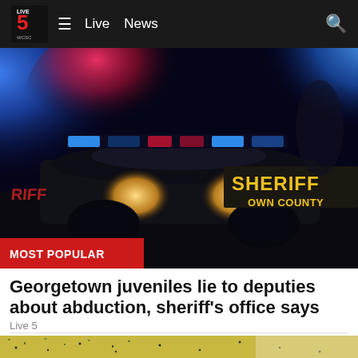Live 5 WCSC — Live News
[Figure (photo): Night scene showing sheriff's department police car with flashing blue and red lights, with 'SHERIFF OWN COUNTY' text visible on the vehicle]
MOST POPULAR
Georgetown juveniles lie to deputies about abduction, sheriff's office says
Live 5
[Figure (photo): Close-up image of what appears to be food with green herbs and black seeds/spices on a light-colored surface]